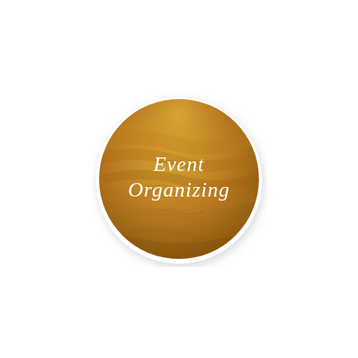[Figure (illustration): A circular badge/logo with a golden-brown watercolor/wood texture background and a white border/shadow. White cursive/script text in the center reads 'Event Organizing' on two lines.]